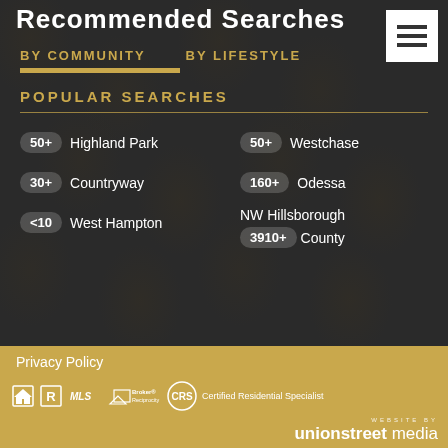Recommended Searches
BY COMMUNITY  BY LIFESTYLE
POPULAR SEARCHES
50+ Highland Park
30+ Countryway
<10 West Hampton
50+ Westchase
160+ Odessa
NW Hillsborough 3910+ County
Privacy Policy
Certified Residential Specialist
WEBSITE BY unionstreet media